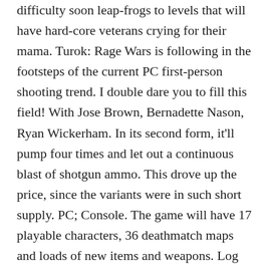difficulty soon leap-frogs to levels that will have hard-core veterans crying for their mama. Turok: Rage Wars is following in the footsteps of the current PC first-person shooting trend. I double dare you to fill this field! With Jose Brown, Bernadette Nason, Ryan Wickerham. In its second form, it'll pump four times and let out a continuous blast of shotgun ammo. This drove up the price, since the variants were in such short supply. PC; Console. The game will have 17 playable characters, 36 deathmatch maps and loads of new items and weapons. Log In to add custom notes to this or any other game. Single-Player Trials Mode - This mode begins with Joshua Fireseed, Adon, and the Bio Bot Eliteas the only playable characters. There are a number of features that make Rage Wars interesting. There are some new weapons that can alter the strategies you use